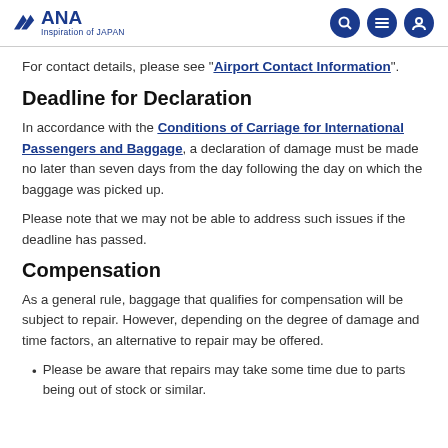ANA — Inspiration of JAPAN
For contact details, please see "Airport Contact Information".
Deadline for Declaration
In accordance with the Conditions of Carriage for International Passengers and Baggage, a declaration of damage must be made no later than seven days from the day following the day on which the baggage was picked up.
Please note that we may not be able to address such issues if the deadline has passed.
Compensation
As a general rule, baggage that qualifies for compensation will be subject to repair. However, depending on the degree of damage and time factors, an alternative to repair may be offered.
Please be aware that repairs may take some time due to parts being out of stock or similar.